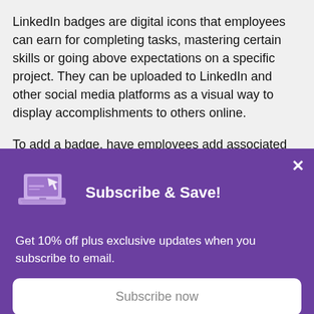LinkedIn badges are digital icons that employees can earn for completing tasks, mastering certain skills or going above expectations on a specific project. They can be uploaded to LinkedIn and other social media platforms as a visual way to display accomplishments to others online.
To add a badge, have employees add associated media under “accomplishments” in their LinkedIn profile. A “Cheers for Peers” champion badge or a “Certificate of Achievement”
[Figure (infographic): Purple popup overlay with laptop icon, title 'Subscribe & Save!', body text 'Get 10% off plus exclusive updates when you subscribe to email.', and a white 'Subscribe now' button. A close (x) button is in the top right corner.]